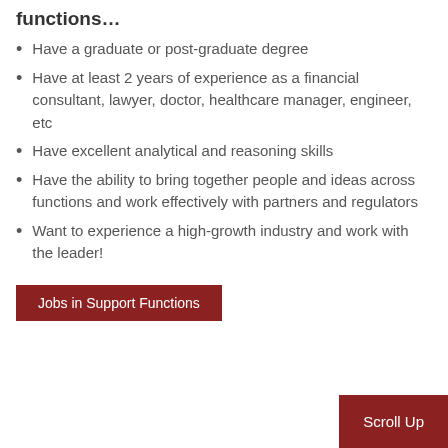functions…
Have a graduate or post-graduate degree
Have at least 2 years of experience as a financial consultant, lawyer, doctor, healthcare manager, engineer, etc
Have excellent analytical and reasoning skills
Have the ability to bring together people and ideas across functions and work effectively with partners and regulators
Want to experience a high-growth industry and work with the leader!
Jobs in Support Functions
Scroll Up